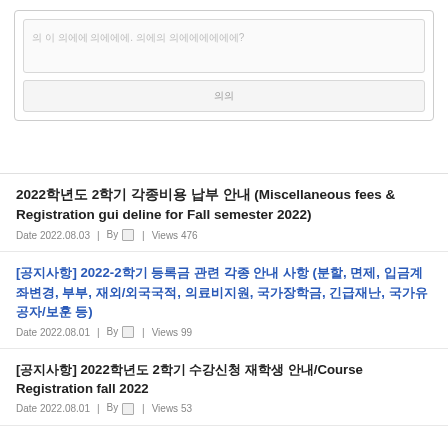[Figure (screenshot): A text input area with Korean placeholder text and a submit button below it, inside a rounded border box.]
2022학년도 2학기 각종비용 납부 안내 (Miscellaneous fees & Registration guideline for Fall semester 2022)
Date 2022.08.03 | By 관 | Views 476
[공지사항] 2022-2학기 등록금 관련 각종 안내 사항 (분할, 면제, 입금계좌변경, 부부, 재외/외국국적, 의료비지원, 국가장학금, 긴급재난, 국가유공자/보훈 등)
Date 2022.08.01 | By 관 | Views 99
[공지사항] 2022학년도 2학기 수강신청 재학생 안내/Course Registration fall 2022
Date 2022.08.01 | By 관 | Views 53